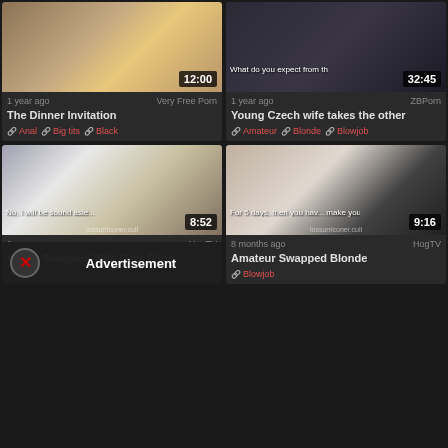[Figure (screenshot): Video thumbnail 1 - The Dinner Invitation, duration 12:00]
1 year ago   Very Free Porn
The Dinner Invitation
Anal  Big tits  Black
[Figure (screenshot): Video thumbnail 2 - Young Czech wife takes the other, duration 32:45]
1 year ago   ZBPorn
Young Czech wife takes the other
Amateur  Blonde  Blowjob
[Figure (screenshot): Video thumbnail 3 - Horny Swapped Wife Gets Dildo, duration 8:52]
1 year ago   HogTV
Horny Swapped Wife Gets Dildo
Amate...
[Figure (screenshot): Video thumbnail 4 - Amateur Swapped Blonde, duration 9:16]
8 months ago   HogTV
Amateur Swapped Blonde
Blowjob
Advertisement